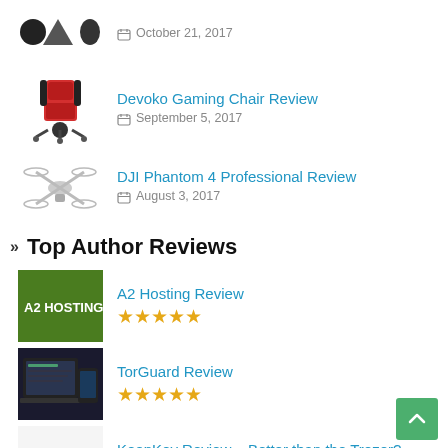October 21, 2017
Devoko Gaming Chair Review — September 5, 2017
DJI Phantom 4 Professional Review — August 3, 2017
Top Author Reviews
A2 Hosting Review ★★★★★
TorGuard Review ★★★★★
KeepKey Review – Better than the Trezor? ★★★★★
Top User Reviews